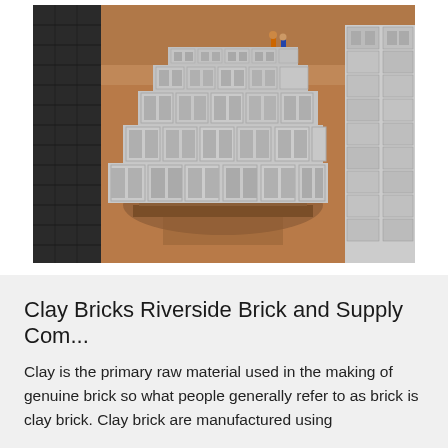[Figure (photo): Outdoor brick manufacturing yard showing rows of grey concrete/clay blocks stacked on wooden pallets in the foreground, with darker bricks stacked along the left wall, more blocks on the right, and a few people visible in the background. Sandy red/brown ground. Vegetated area visible in the far background.]
Clay Bricks Riverside Brick and Supply Com...
Clay is the primary raw material used in the making of genuine brick so what people generally refer to as brick is clay brick. Clay brick are manufactured using other clay in the clay condition in the clay rising...